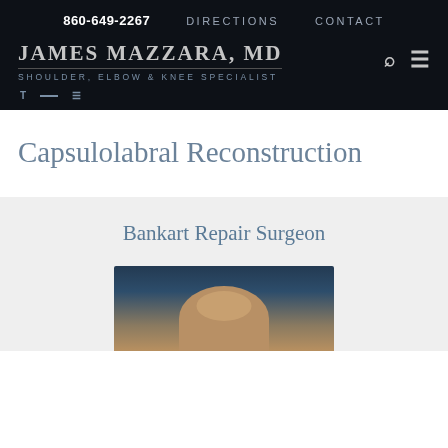860-649-2267   DIRECTIONS   CONTACT
JAMES MAZZARA, MD
SHOULDER, ELBOW & KNEE SPECIALIST
Capsulolabral Reconstruction
Bankart Repair Surgeon
[Figure (photo): Headshot photo of Dr. James Mazzara MD, partially visible, showing top of head with light hair against dark background]